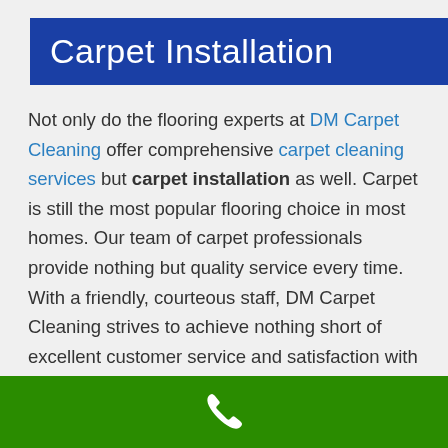Carpet Installation
Not only do the flooring experts at DM Carpet Cleaning offer comprehensive carpet cleaning services but carpet installation as well. Carpet is still the most popular flooring choice in most homes. Our team of carpet professionals provide nothing but quality service every time. With a friendly, courteous staff, DM Carpet Cleaning strives to achieve nothing short of excellent customer service and satisfaction with every valued customer we work with.
[Figure (illustration): Green footer bar with a white phone handset icon centered]